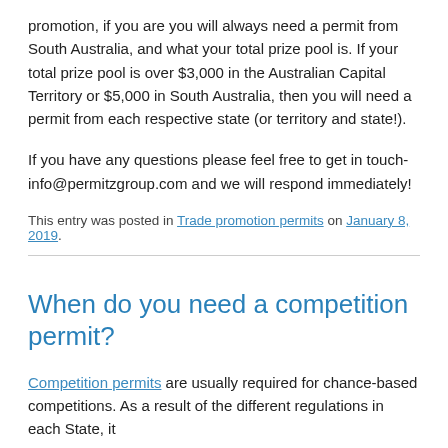promotion, if you are you will always need a permit from South Australia, and what your total prize pool is. If your total prize pool is over $3,000 in the Australian Capital Territory or $5,000 in South Australia, then you will need a permit from each respective state (or territory and state!).
If you have any questions please feel free to get in touch- info@permitzgroup.com and we will respond immediately!
This entry was posted in Trade promotion permits on January 8, 2019.
When do you need a competition permit?
Competition permits are usually required for chance-based competitions. As a result of the different regulations in each State, it